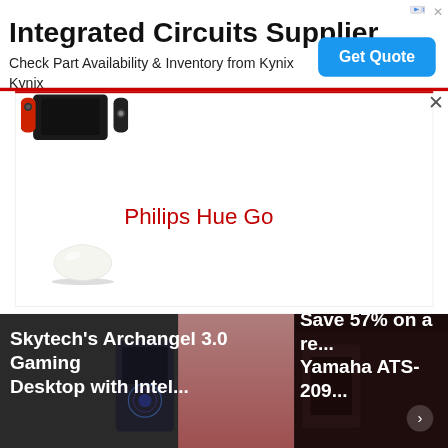[Figure (screenshot): Advertisement banner for Integrated Circuits Supplier (Kynix). Contains bold title 'Integrated Circuits Supplier', subtitle 'Check Part Availability & Inventory from Kynix Kynix', and a blue 'Get Quote' button on the right.]
[Figure (screenshot): Product card/modal showing a Nintendo Switch controller image at the top-left, with 'Philips Hue Go' text in red and a white bowl-shaped lamp below.]
Philips Hue Go
[Figure (screenshot): Bottom promotional strip with two panels: left panel shows 'Skytech's Archangel 3.0 Gaming Desktop with Intel...' with a gaming PC image; right panel shows 'Save 57% on a re... Yamaha ATS-209...' with a navigation arrow.]